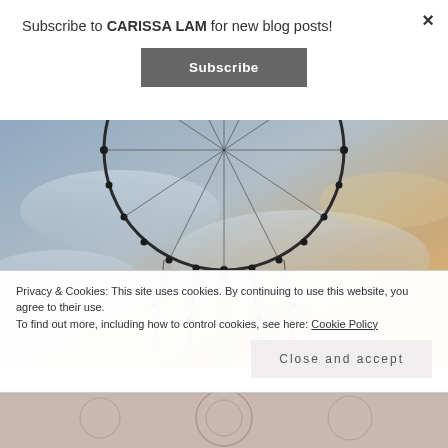Subscribe to CARISSA LAM for new blog posts!
Subscribe
[Figure (photo): A dreamcatcher silhouette photographed against a sunset sky with blue and orange hues, showing the circular hoop with hanging beads and feathers]
Privacy & Cookies: This site uses cookies. By continuing to use this website, you agree to their use.
To find out more, including how to control cookies, see here: Cookie Policy
Close and accept